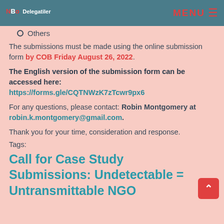NBo Delegatiter | MENU
Others
The submissions must be made using the online submission form by COB Friday August 26, 2022.
The English version of the submission form can be accessed here: https://forms.gle/CQTNWzK7zTcwr9px6
For any questions, please contact: Robin Montgomery at robin.k.montgomery@gmail.com.
Thank you for your time, consideration and response.
Tags:
Call for Case Study Submissions: Undetectable = Untransmittable NGO